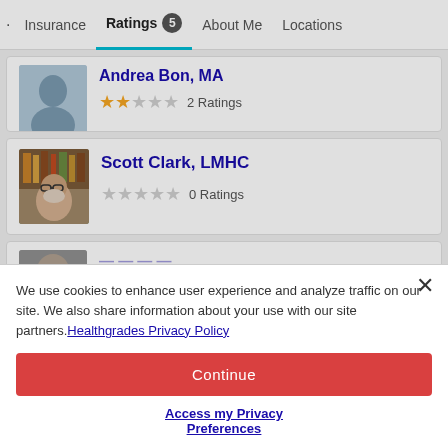Insurance | Ratings 5 | About Me | Locations
Andrea Bon, MA — 2 Ratings
Scott Clark, LMHC — 0 Ratings
We use cookies to enhance user experience and analyze traffic on our site. We also share information about your use with our site partners. Healthgrades Privacy Policy
Continue
Access my Privacy Preferences